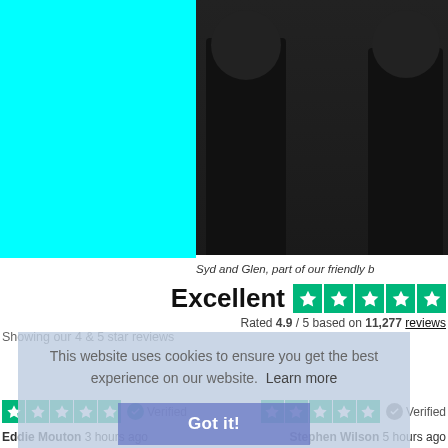[Figure (photo): Left half is a cyan/turquoise rectangle. Right half shows two people wearing black hoodies standing together.]
Syd and Glen, part of our friendly b
Excellent
Rated 4.9 / 5 based on 11,277 reviews
This website uses cookies to ensure you get the best experience on our website. Learn more
Got it!
Showing our 4 & 5 star reviews
Verified
Verified
Eddie Mouton  3 hours ago
Stephen Wilson  5 hours ago